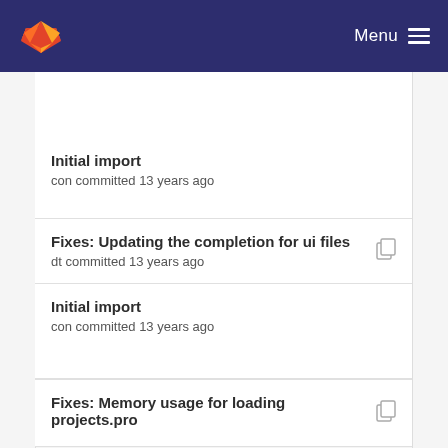GitLab Menu
Initial import
con committed 13 years ago
Fixes: Updating the completion for ui files
dt committed 13 years ago
Initial import
con committed 13 years ago
Fixes: Memory usage for loading projects.pro